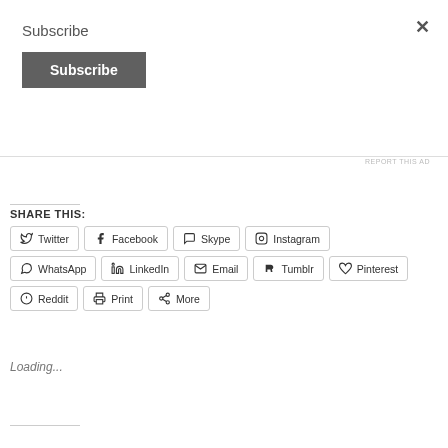Subscribe
[Figure (other): Close button (×) in top right corner]
[Figure (other): Dark gray Subscribe button]
REPORT THIS AD
SHARE THIS:
Twitter  Facebook  Skype  Instagram  WhatsApp  LinkedIn  Email  Tumblr  Pinterest  Reddit  Print  More
Loading...